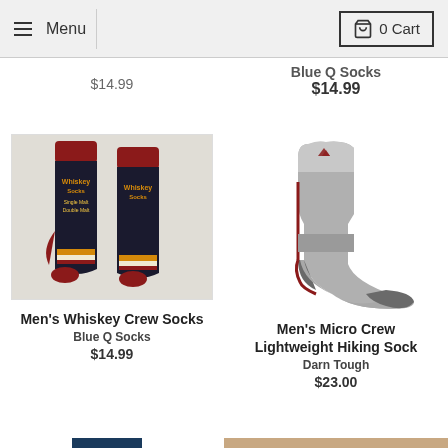Menu | 0 Cart
Blue Q Socks
$14.99
[Figure (photo): Two dark navy/black crew socks with whiskey theme — text reads 'Whiskey Socks', 'Single Malt', 'Double Malt', with orange and cream stripe on the foot, dark red cuff and toe]
Men's Whiskey Crew Socks
Blue Q Socks
$14.99
[Figure (photo): Single grey micro crew hiking sock with dark red accent seams and logo mark on cuff, darker grey reinforced heel and toe, shown in profile on white background — Darn Tough brand]
Men's Micro Crew Lightweight Hiking Sock
Darn Tough
$23.00
[Figure (photo): Partial view of a dark navy/teal sock with yellow-green stripes, cut off at bottom of page]
[Figure (photo): Partial view of second product at bottom right, cut off]